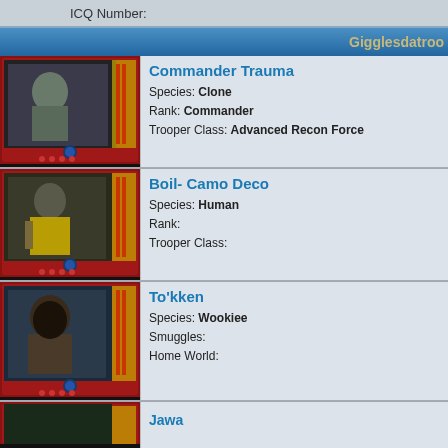ICQ Number:
Gigglesdatroo
Commander Trauma
Species: Clone
Rank: Commander
Trooper Class: Advanced Recon Force
Boil- Camo Deco
Species: Human
Rank:
Trooper Class:
To'kken
Species: Wookiee
Smuggles:
Home World:
Jawa